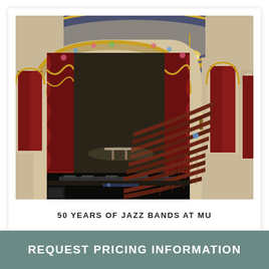[Figure (photo): Interior of an ornate theater showing the stage with red velvet curtains and gold trim arch, decorative ceiling with chandelier, and curved rows of dark red/brown theater seats viewed from the orchestra level.]
50 YEARS OF JAZZ BANDS AT MU
REQUEST PRICING INFORMATION